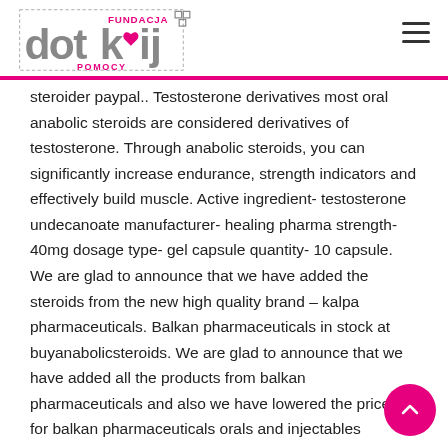Fundacja Dotknij Pomocy
steroider paypal.. Testosterone derivatives most oral anabolic steroids are considered derivatives of testosterone. Through anabolic steroids, you can significantly increase endurance, strength indicators and effectively build muscle. Active ingredient- testosterone undecanoate manufacturer- healing pharma strength- 40mg dosage type- gel capsule quantity- 10 capsule. We are glad to announce that we have added the steroids from the new high quality brand – kalpa pharmaceuticals. Balkan pharmaceuticals in stock at buyanabolicsteroids. We are glad to announce that we have added all the products from balkan pharmaceuticals and also we have lowered the prices for balkan pharmaceuticals orals and injectables